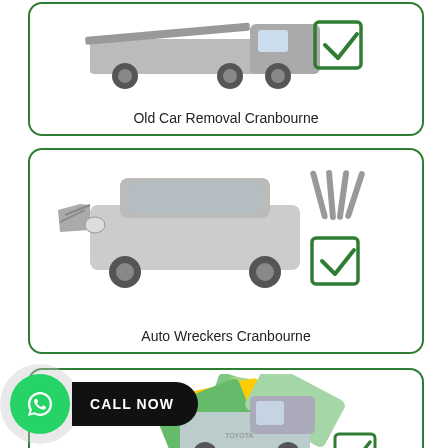[Figure (illustration): Card showing a tow truck (flatbed) in grayscale with a green checkbox icon. Label reads 'Old Car Removal Cranbourne']
Old Car Removal Cranbourne
[Figure (illustration): Card showing a damaged/wrecked silver Mercedes car front with wrenches icon and green checkbox. Label reads 'Auto Wreckers Cranbourne']
Auto Wreckers Cranbourne
[Figure (illustration): Partial card at bottom showing a Toyota truck surrounded by Australian cash notes and a checkbox icon]
[Figure (infographic): Call Now button: green WhatsApp phone icon circle with black pill-shaped banner saying CALL NOW]